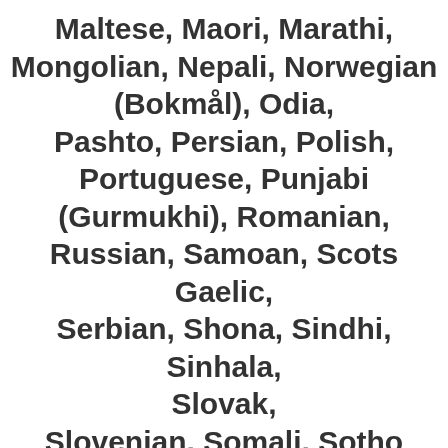Maltese, Maori, Marathi, Mongolian, Nepali, Norwegian (Bokmål), Odia,
Pashto, Persian, Polish, Portuguese, Punjabi (Gurmukhi), Romanian,
Russian, Samoan, Scots Gaelic, Serbian, Shona, Sindhi, Sinhala, Slovak,
Slovenian, Somali, Sotho